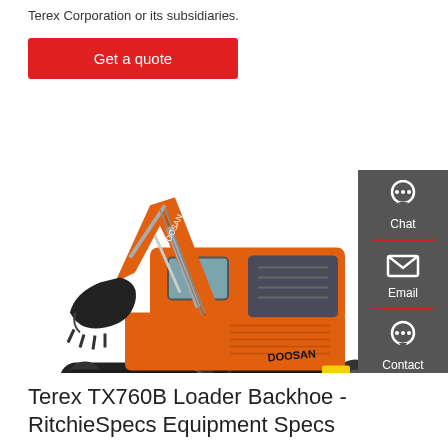Terex Corporation or its subsidiaries.
Get a quote
[Figure (photo): Orange Doosan tracked excavator (crawler excavator) with bucket raised, shown on white background. The machine is branded Doosan and is orange and black in color.]
Chat
Email
Contact
Terex TX760B Loader Backhoe - RitchieSpecs Equipment Specs